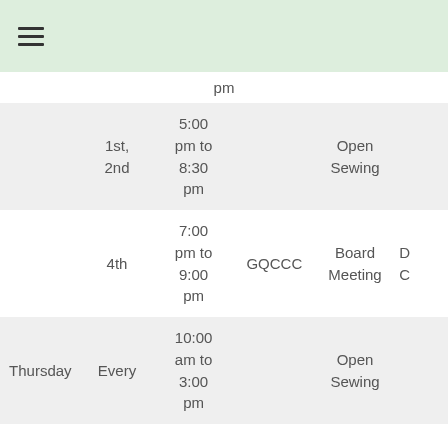≡
pm
| Day | Week | Time | Location | Event | Notes |
| --- | --- | --- | --- | --- | --- |
|  | 1st, 2nd | 5:00 pm to 8:30 pm |  | Open Sewing |  |
|  | 4th | 7:00 pm to 9:00 pm | GQCCC | Board Meeting |  |
| Thursday | Every | 10:00 am to 3:00 pm |  | Open Sewing |  |